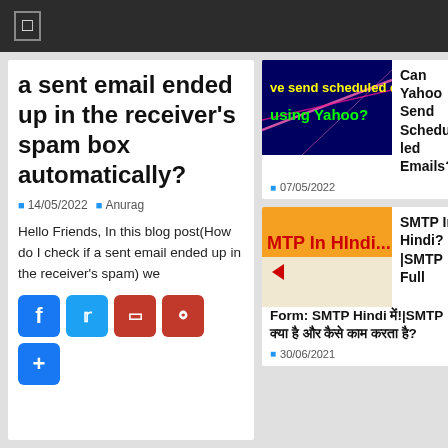☰
a sent email ended up in the receiver's spam box automatically?
14/05/2022   Anurag
Hello Friends, In this blog post(How do I check if a sent email ended up in the receiver's spam) we
[Figure (screenshot): Social share buttons: Facebook, Twitter, Flipboard, Pinterest, More]
[Figure (screenshot): Thumbnail image with text 've send scheduled e using Yahoo?' on dark background]
Can Yahoo Send Scheduled Emails?
07/05/2022
[Figure (screenshot): Thumbnail image with text 'MTP In HIndi...' on orange/cream background]
SMTP In Hindi? |SMTP Full Form: SMTP Hindi में!|SMTP क्या है और कैसे काम करता है?
30/06/2021